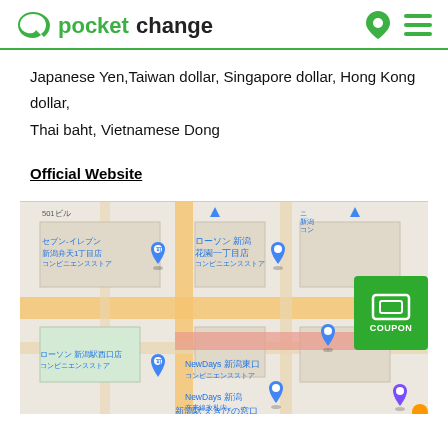pocket change
Japanese Yen,Taiwan dollar, Singapore dollar, Hong Kong dollar, Thai baht, Vietnamese Dong
Official Website
[Figure (map): Google Maps view showing Niigata Station area in Japan with several convenience store markers (Seven-Eleven, Lawson, NewDays) labeled in Japanese, and a green coupon button overlay in the bottom-right corner.]